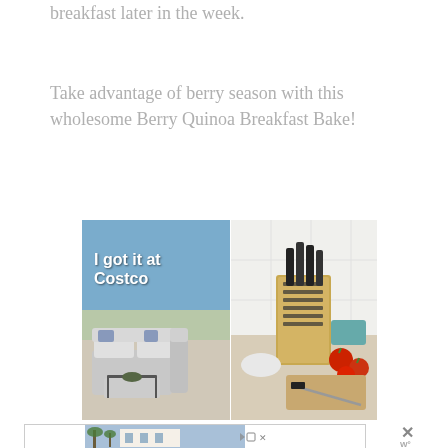breakfast later in the week.
Take advantage of berry season with this wholesome Berry Quinoa Breakfast Bake!
[Figure (photo): Costco advertisement showing outdoor patio furniture with sectional sofa (left panel) and a knife block set with tomatoes on a kitchen counter (right panel). Text overlay reads 'I got it at Costco'.]
[Figure (photo): Bottom advertisement strip showing a beachside property or resort with palm trees and a white building.]